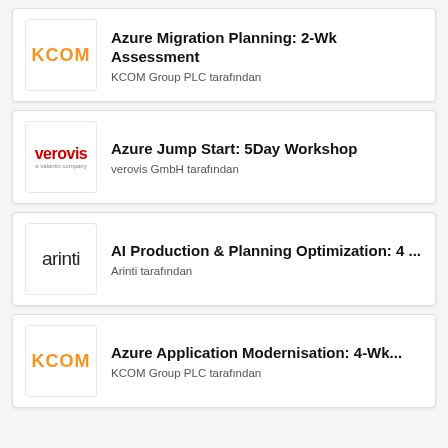Azure Migration Planning: 2-Wk Assessment
KCOM Group PLC tarafından
Azure Jump Start: 5Day Workshop
verovis GmbH tarafından
AI Production & Planning Optimization: 4 ...
Arinti tarafından
Azure Application Modernisation: 4-Wk...
KCOM Group PLC tarafından